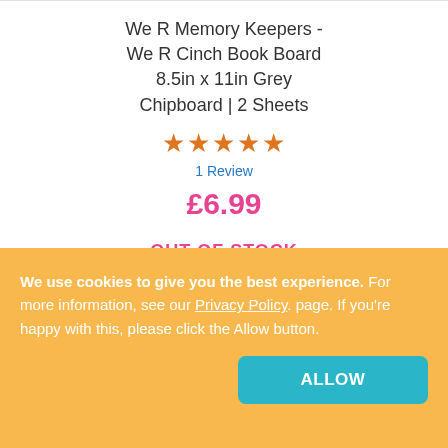We R Memory Keepers - We R Cinch Book Board 8.5in x 11in Grey Chipboard | 2 Sheets
★★★★★
1 Review
£6.99
OUT OF STOCK
We use cookies to give you the best experience. For more information, see our Privacy Policy. page. If you're happy with this, please click the Allow button.